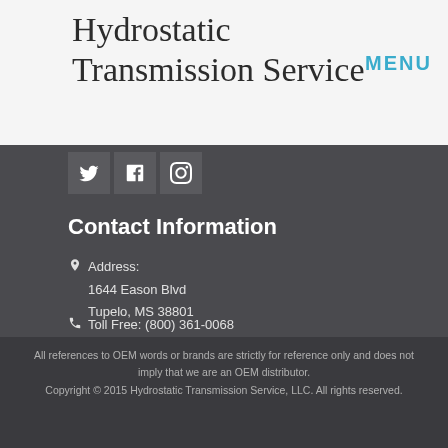Hydrostatic Transmission Service
MENU
[Figure (illustration): Three social media icon buttons (Twitter, Facebook, Instagram) as dark square buttons with white icons]
Contact Information
Address: 1644 Eason Blvd Tupelo, MS 38801
Toll Free: (800) 361-0068
Local: +1 (662) 680-8899
Email: info@hydrostatic-transmission.com
All references to OEM words or brands are strictly for reference only and does not imply that we are an OEM distributor. Copyright © 2015 Hydrostatic Transmission Service, LLC. All rights reserved.